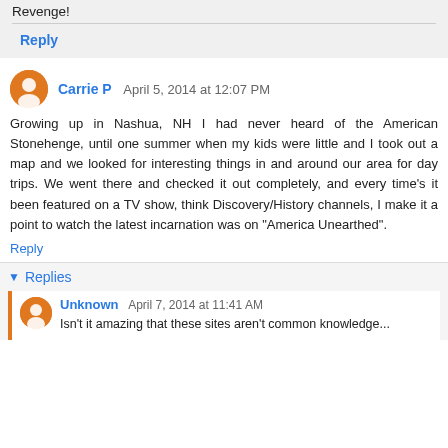Revenge!
Reply
Carrie P  April 5, 2014 at 12:07 PM
Growing up in Nashua, NH I had never heard of the American Stonehenge, until one summer when my kids were little and I took out a map and we looked for interesting things in and around our area for day trips. We went there and checked it out completely, and every time's it been featured on a TV show, think Discovery/History channels, I make it a point to watch the latest incarnation was on "America Unearthed".
Reply
Replies
Unknown  April 7, 2014 at 11:41 AM
Isn't it amazing that these sites aren't common knowledge...